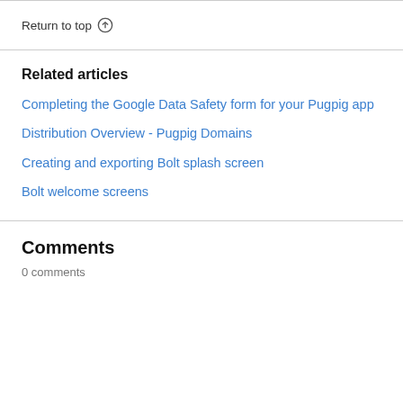Return to top ↑
Related articles
Completing the Google Data Safety form for your Pugpig app
Distribution Overview - Pugpig Domains
Creating and exporting Bolt splash screen
Bolt welcome screens
Comments
0 comments